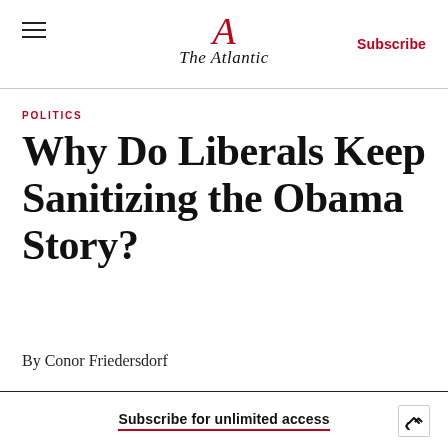The Atlantic
POLITICS
Why Do Liberals Keep Sanitizing the Obama Story?
By Conor Friedersdorf
Subscribe for unlimited access